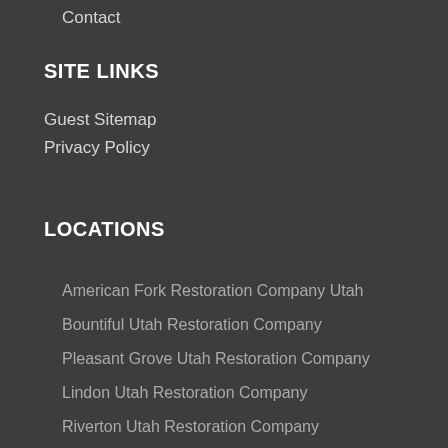Contact
SITE LINKS
Guest Sitemap
Privacy Policy
LOCATIONS
American Fork Restoration Company Utah
Bountiful Utah Restoration Company
Pleasant Grove Utah Restoration Company
Lindon Utah Restoration Company
Riverton Utah Restoration Company